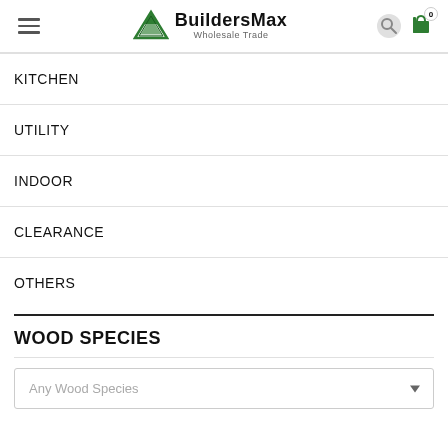BuildersMax Wholesale Trade
KITCHEN
UTILITY
INDOOR
CLEARANCE
OTHERS
WOOD SPECIES
Any Wood Species